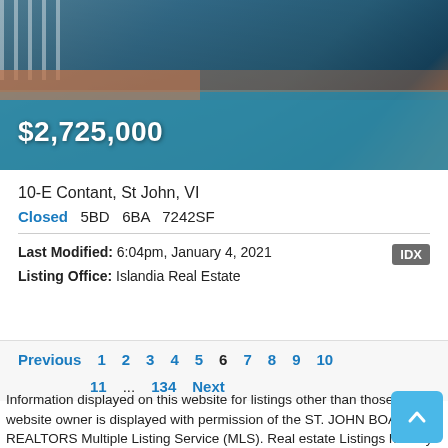[Figure (photo): Aerial or elevated view of a swimming pool and deck area with teal water, railing or fence detail visible at top left, warm sunset tones at right edge]
$2,725,000
10-E Contant, St John, VI
Closed   5BD   6BA   7242SF
Last Modified: 6:04pm, January 4, 2021
Listing Office: Islandia Real Estate
Previous  1  2  3  4  5  6  7  8  9  10  11  ...  134  Next
Information displayed on this website for listings other than those of the website owner is displayed with permission of the ST. JOHN BOARD OF REALTORS Multiple Listing Service (MLS). Real estate Listings held by